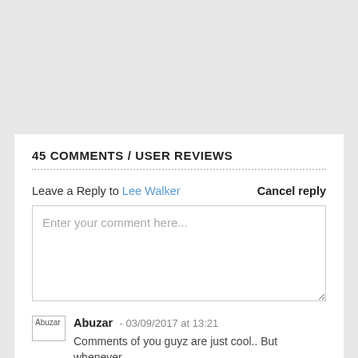45 COMMENTS / USER REVIEWS
Leave a Reply to Lee Walker   Cancel reply
Enter your comment here...
Abuzar - 03/09/2017 at 13:21
Comments of you guyz are just cool.. But whenever